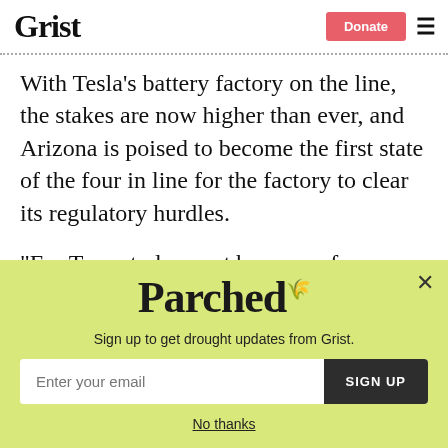Grist | Donate
With Tesla’s battery factory on the line, the stakes are now higher than ever, and Arizona is poised to become the first state of the four in line for the factory to clear its regulatory hurdles.
“For Texas to lose out because of regulation like that is hard to swallow,” Mi…
[Figure (other): Parched newsletter signup popup overlay with yellow-green background. Contains the Parched logo in large serif font, subtitle 'Sign up to get drought updates from Grist.', an email input field with placeholder 'Enter your email', a dark SIGN UP button, and a 'No thanks' link. A close (X) button is in the top right corner.]